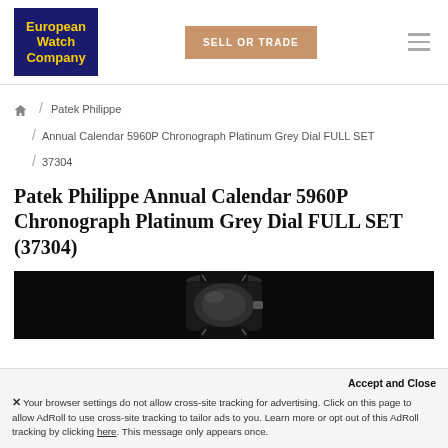European Watch Company | SELL OR TRADE
/ Patek Philippe / Annual Calendar 5960P Chronograph Platinum Grey Dial FULL SET / 37304
Patek Philippe Annual Calendar 5960P Chronograph Platinum Grey Dial FULL SET (37304)
[Figure (photo): Close-up photo of a watch on dark/black background, showing partial view of the watch crown and strap area]
Accept and Close
× Your browser settings do not allow cross-site tracking for advertising. Click on this page to allow AdRoll to use cross-site tracking to tailor ads to you. Learn more or opt out of this AdRoll tracking by clicking here. This message only appears once.